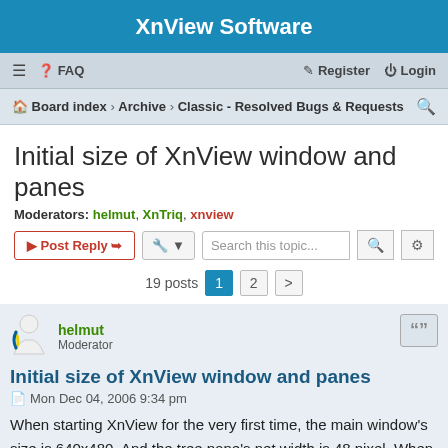XnView Software
≡  FAQ    Register  Login
Board index › Archive › Classic - Resolved Bugs & Requests
Initial size of XnView window and panes
Moderators: helmut, XnTriq, xnview
Post Reply  Tools  Search this topic...  19 posts  1  2  >
helmut
Moderator
Initial size of XnView window and panes
Mon Dec 04, 2006 9:34 pm
When starting XnView for the very first time, the main window's size is 640x480. And the tree pane's net width is 48 pixel. When resizing the main window, the tree pane's width does not change.
These values are far from being optimal. The tree pane with 48 pixels width is not usable. Since the explorer/tree pane's size does not change